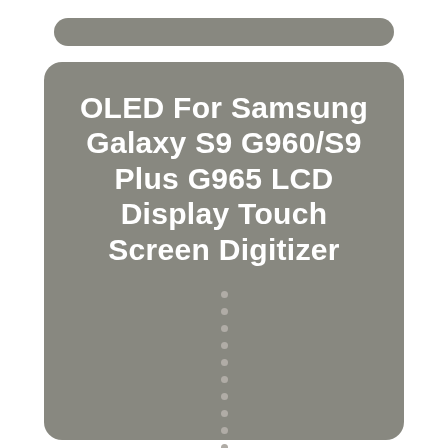[Figure (illustration): A product listing image showing a gray rounded rectangle card on a white background, with a narrow gray pill/bar shape above it. The card contains the product title text in bold white and a vertical column of small gray dots below the text.]
OLED For Samsung Galaxy S9 G960/S9 Plus G965 LCD Display Touch Screen Digitizer